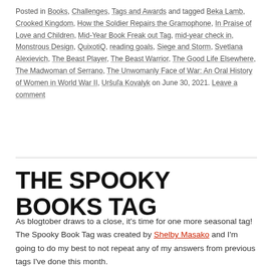Posted in Books, Challenges, Tags and Awards and tagged Beka Lamb, Crooked Kingdom, How the Soldier Repairs the Gramophone, In Praise of Love and Children, Mid-Year Book Freak out Tag, mid-year check in, Monstrous Design, QuixotiQ, reading goals, Siege and Storm, Svetlana Alexievich, The Beast Player, The Beast Warrior, The Good Life Elsewhere, The Madwoman of Serrano, The Unwomanly Face of War: An Oral History of Women in World War II, Uršuľa Kovalyk on June 30, 2021. Leave a comment
THE SPOOKY BOOKS TAG
As blogtober draws to a close, it's time for one more seasonal tag! The Spooky Book Tag was created by Shelby Masako and I'm going to do my best to not repeat any of my answers from previous tags I've done this month.